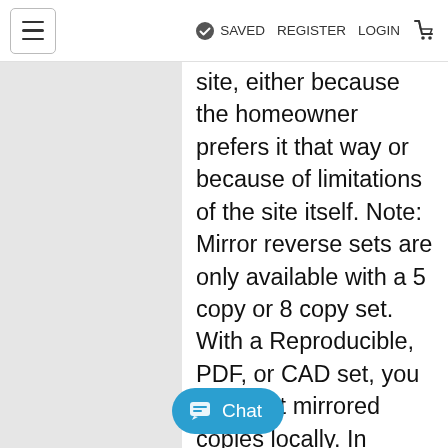≡   ✔ SAVED   REGISTER   LOGIN   🛒
site, either because the homeowner prefers it that way or because of limitations of the site itself. Note: Mirror reverse sets are only available with a 5 copy or 8 copy set. With a Reproducible, PDF, or CAD set, you can print mirrored copies locally. In addition: 5 Copy set selected, should only allow 4 mirrored sets to be selected. 8 Copy set s[...]uld only a[...]red sets to